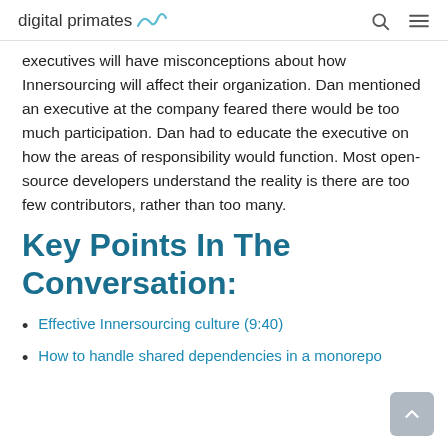digital primates
executives will have misconceptions about how Innersourcing will affect their organization. Dan mentioned an executive at the company feared there would be too much participation. Dan had to educate the executive on how the areas of responsibility would function. Most open-source developers understand the reality is there are too few contributors, rather than too many.
Key Points In The Conversation:
Effective Innersourcing culture (9:40)
How to handle shared dependencies in a monorepo